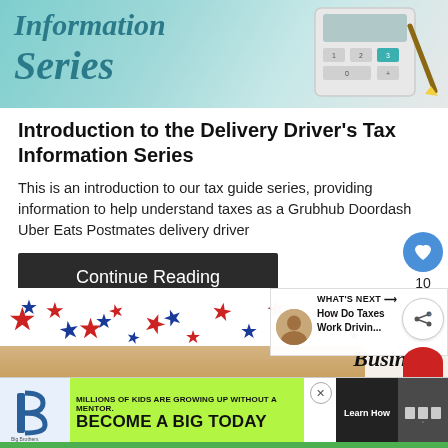[Figure (photo): Banner image showing 'Tax Information Series' text on teal background with a calculator and notepad]
Introduction to the Delivery Driver's Tax Information Series
This is an introduction to our tax guide series, providing information to help understand taxes as a Grubhub Doordash Uber Eats Postmates delivery driver
Continue Reading
[Figure (photo): Image of patriotic stars (red, blue) on a strip, with 'Business' text partially visible, and a 'WHAT'S NEXT' sidebar showing 'How Do Taxes Work Drivin...']
[Figure (infographic): Advertisement banner: Big Brothers Big Sisters - MILLIONS OF KIDS ARE GROWING UP WITHOUT A MENTOR. BECOME A BIG TODAY. Learn How.]